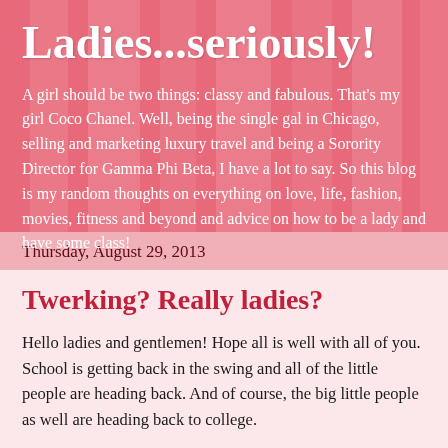Ladies...seriously!
A girl should be two things: classy and fabulous. That's my girl Coco Chanel. Well, being the single gal in Chicago, selling and marketing luxury travel and being a Sorority Director for Gamma Phi Beta, I have a lot to say. So this blog is my random thoughts on everything on love, life, fashion, movies, fitness and beyond and advice on how to be a lady and have some class!
Thursday, August 29, 2013
Twerking? Really ladies?
Hello ladies and gentlemen!  Hope all is well with all of you.  School is getting back in the swing and all of the little people are heading back.  And of course, the big little people as well are heading back to college.
So this week, one of my friend's husbands wanted to know my